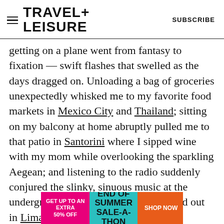TRAVEL+LEISURE  SUBSCRIBE
getting on a plane went from fantasy to fixation — swift flashes that swelled as the days dragged on. Unloading a bag of groceries unexpectedly whisked me to my favorite food markets in Mexico City and Thailand; sitting on my balcony at home abruptly pulled me to that patio in Santorini where I sipped wine with my mom while overlooking the sparkling Aegean; and listening to the radio suddenly conjured the slinky, sinuous music at the underground bar my friends and I closed out in Lima. The mere sight of a plane flying overhead yanked me into a quicksand of scrolling through my camera
[Figure (other): Advertisement banner: pink left panel 'GET UP TO AN EXTRA 50% OFF', teal center panel 'END OF SUMMER SALE-A-THON', orange right button 'SHOP NOW']